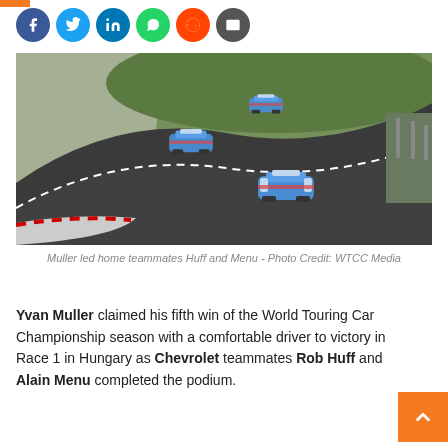[Figure (photo): Three blue touring cars racing on a curved track with green grass on the outside, barriers visible. WTCC race photo.]
Muller led home teammates Huff and Menu - Photo Credit: WTCC Media
Yvan Muller claimed his fifth win of the World Touring Car Championship season with a comfortable driver to victory in Race 1 in Hungary as Chevrolet teammates Rob Huff and Alain Menu completed the podium.